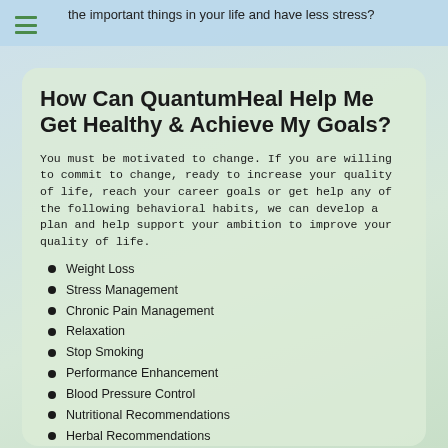the important things in your life and have less stress?
How Can QuantumHeal Help Me Get Healthy & Achieve My Goals?
You must be motivated to change. If you are willing to commit to change, ready to increase your quality of life, reach your career goals or get help any of the following behavioral habits, we can develop a plan and help support your ambition to improve your quality of life.
Weight Loss
Stress Management
Chronic Pain Management
Relaxation
Stop Smoking
Performance Enhancement
Blood Pressure Control
Nutritional Recommendations
Herbal Recommendations